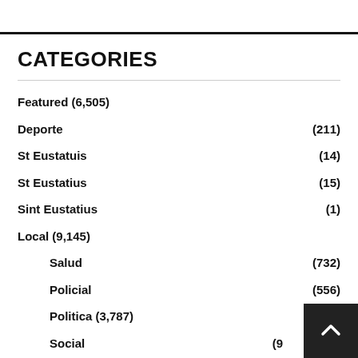CATEGORIES
Featured (6,505)
Deporte (211)
St Eustatuis (14)
St Eustatius (15)
Sint Eustatius (1)
Local (9,145)
Salud (732)
Policial (556)
Politica (3,787)
Social (9...)
Corte (147)
Economia (100...)